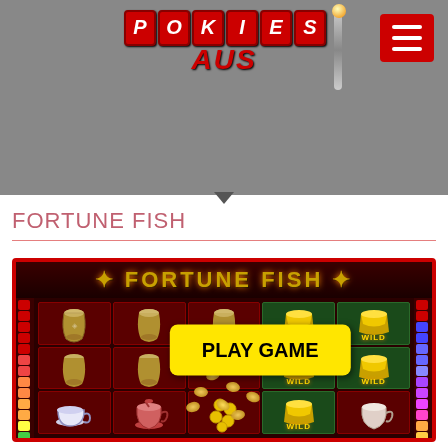[Figure (logo): PokiesAus logo with red letter tiles spelling POKIES and red italic AUS text below, with a slot machine bar and orange ball accent]
[Figure (screenshot): Hamburger menu button (three white lines on red background) in top-right corner]
FORTUNE FISH
[Figure (screenshot): Fortune Fish slot game screenshot showing 5-reel slot with vase symbols, golden ingot WILD symbols, teacup and teapot symbols, scattered gold coins, and a yellow PLAY GAME button overlay]